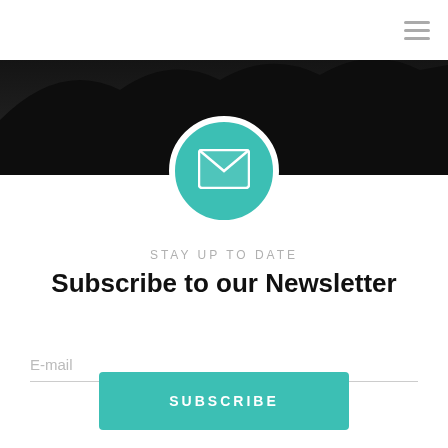[Figure (screenshot): Dark background hero image strip at the top of the page showing a dark landscape silhouette]
[Figure (illustration): Teal circle with a white envelope/mail icon centered on it, overlapping the hero strip and white content area]
STAY UP TO DATE
Subscribe to our Newsletter
E-mail
SUBSCRIBE